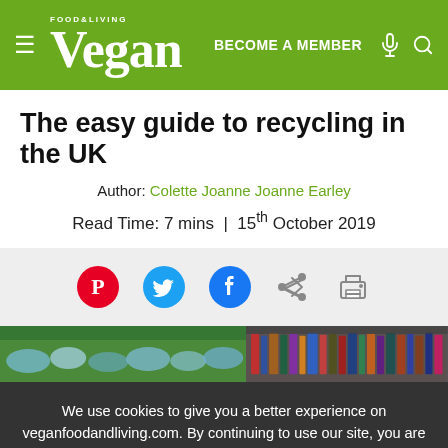FOOD&LIVING Vegan | BECOME A MEMBER
The easy guide to recycling in the UK
Author: Colette Joanne Joanne Earley
Read Time: 7 mins | 15th October 2019
[Figure (screenshot): Social share bar with Pinterest, Twitter, Facebook, share, and print icons]
[Figure (photo): Photo strip showing plastic bottles for recycling on left and books/magazines on right]
We use cookies to give you a better experience on veganfoodandliving.com. By continuing to use our site, you are agreeing to the use of cookies as set in our Cookie Policy.
OK, got it